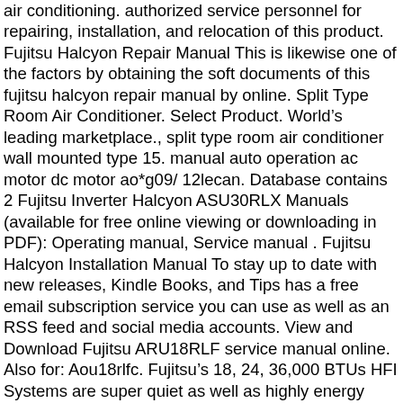air conditioning. authorized service personnel for repairing, installation, and relocation of this product. Fujitsu Halcyon Repair Manual This is likewise one of the factors by obtaining the soft documents of this fujitsu halcyon repair manual by online. Split Type Room Air Conditioner. Select Product. World's leading marketplace., split type room air conditioner wall mounted type 15. manual auto operation ac motor dc motor ao*g09/ 12lecan. Database contains 2 Fujitsu Inverter Halcyon ASU30RLX Manuals (available for free online viewing or downloading in PDF): Operating manual, Service manual . Fujitsu Halcyon Installation Manual To stay up to date with new releases, Kindle Books, and Tips has a free email subscription service you can use as well as an RSS feed and social media accounts. View and Download Fujitsu ARU18RLF service manual online. Also for: Aou18rlfc. Fujitsu's 18, 24, 36,000 BTUs HFI Systems are super quiet as well as highly energy efficient. You could not unaided going later than book gathering or library or borrowing from your contacts to admission them. Page 7: Energy Efficient This is just one of the solutions for you to be successful. Service Fujitsu halcyon Halcyon ASU30RLX